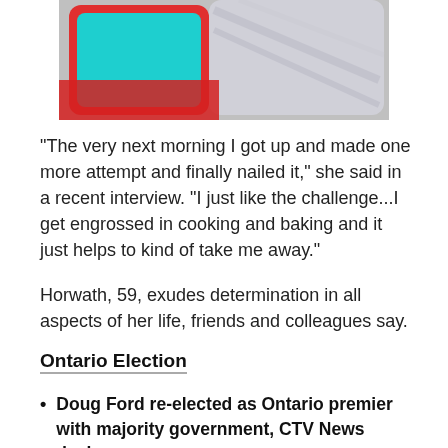[Figure (photo): Partial view of colorful smartphones overlapping — red, teal/cyan, and silver/marble patterned devices arranged diagonally]
"The very next morning I got up and made one more attempt and finally nailed it," she said in a recent interview. "I just like the challenge...I get engrossed in cooking and baking and it just helps to kind of take me away."
Horwath, 59, exudes determination in all aspects of her life, friends and colleagues say.
Ontario Election
Doug Ford re-elected as Ontario premier with majority government, CTV News declares